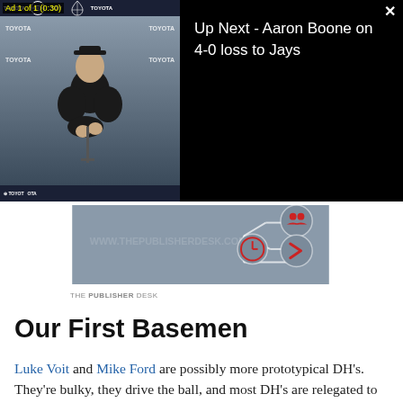[Figure (screenshot): Video player showing Aaron Boone press conference with Toyota sponsorship banners, Yankees logos. Ad 1 of 1 (0:30) label visible.]
Up Next - Aaron Boone on 4-0 loss to Jays
[Figure (illustration): The Publisher Desk advertisement banner showing gray background with white circuit/network lines and red icons (people, clock, arrow).]
THE PUBLISHER DESK
Our First Basemen
Luke Voit and Mike Ford are possibly more prototypical DH's. They're bulky, they drive the ball, and most DH's are relegated to playing first base